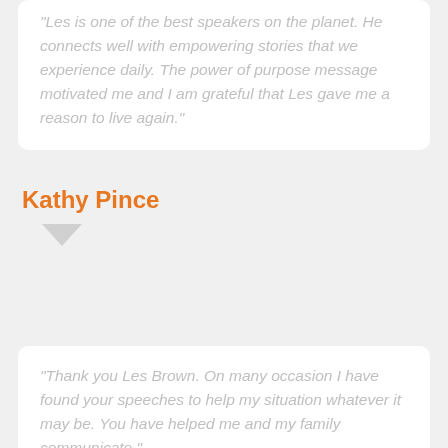"Les is one of the best speakers on the planet. He connects well with empowering stories that we experience daily. The power of purpose message motivated me and I am grateful that Les gave me a reason to live again."
Kathy Pince
"Thank you Les Brown. On many occasion I have found your speeches to help my situation whatever it may be. You have helped me and my family communicate."